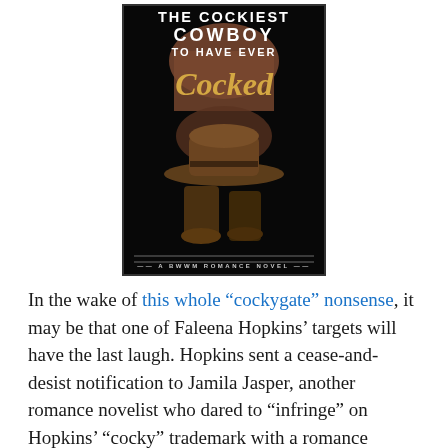[Figure (illustration): Book cover for 'The Cockiest Cowboy to Have Ever Cocked' — A BWWM Romance Novel by Jamila Jasper. Dark background with a cowboy hat, boots, and large script/serif text in white and gold.]
In the wake of this whole "cockygate" nonsense, it may be that one of Faleena Hopkins' targets will have the last laugh. Hopkins sent a cease-and-desist notification to Jamila Jasper, another romance novelist who dared to "infringe" on Hopkins' "cocky" trademark with a romance...